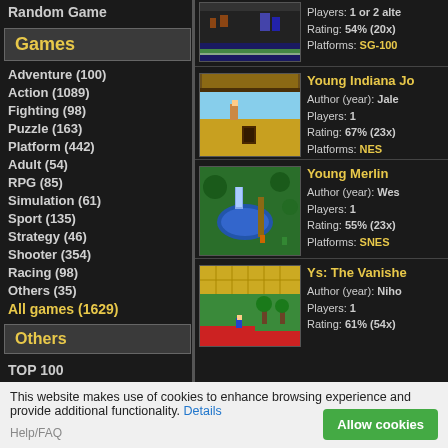Random Game
Games
Adventure  (100)
Action  (1089)
Fighting  (98)
Puzzle  (163)
Platform  (442)
Adult  (54)
RPG  (85)
Simulation  (61)
Sport  (135)
Strategy  (46)
Shooter  (354)
Racing  (98)
Others  (35)
All games  (1629)
Others
TOP 100
[Figure (screenshot): Game screenshot partially visible at top - SG-1000 game]
Players: 1 or 2 alte
Rating: 54% (20x)
Platforms: SG-100
[Figure (screenshot): Young Indiana Jones game screenshot - NES platform game]
Young Indiana Jo
Author (year): Jale
Players: 1
Rating: 67% (23x)
Platforms: NES
[Figure (screenshot): Young Merlin game screenshot - SNES overhead view]
Young Merlin
Author (year): Wes
Players: 1
Rating: 55% (23x)
Platforms: SNES
[Figure (screenshot): Ys: The Vanished game screenshot - platformer]
Ys: The Vanishe
Author (year): Niho
Players: 1
Rating: 61% (54x)
This website makes use of cookies to enhance browsing experience and provide additional functionality. Details
Allow cookies
Help/FAQ